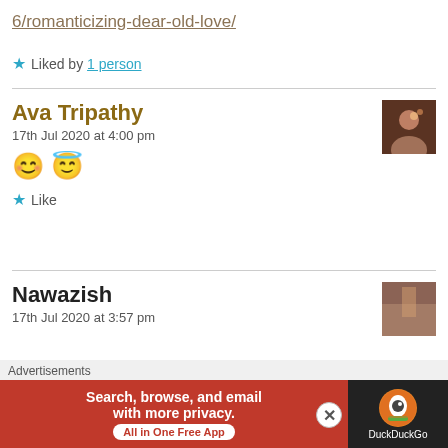6/romanticizing-dear-old-love/
★ Liked by 1 person
Ava Tripathy
17th Jul 2020 at 4:00 pm
😊 😇
★ Like
Nawazish
17th Jul 2020 at 3:57 pm
Advertisements Search, browse, and email with more privacy. All in One Free App DuckDuckGo